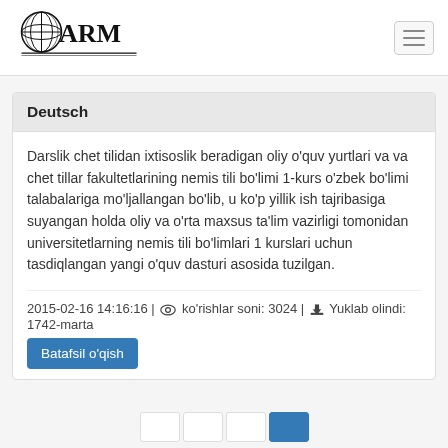[Figure (logo): ARM globe logo with ARM text and decorative line underneath]
Deutsch
Darslik chet tilidan ixtisoslik beradigan oliy o'quv yurtlari va va chet tillar fakultetlarining nemis tili bo'limi 1-kurs o'zbek bo'limi talabalariga mo'ljallangan bo'lib, u ko'p yillik ish tajribasiga suyangan holda oliy va o'rta maxsus ta'lim vazirligi tomonidan universitetlarning nemis tili bo'limlari 1 kurslari uchun tasdiqlangan yangi o'quv dasturi asosida tuzilgan.
2015-02-16 14:16:16 | 👁 ko'rishlar soni: 3024 | ⬇ Yuklab olindi: 1742-marta
Batafsil o'qish